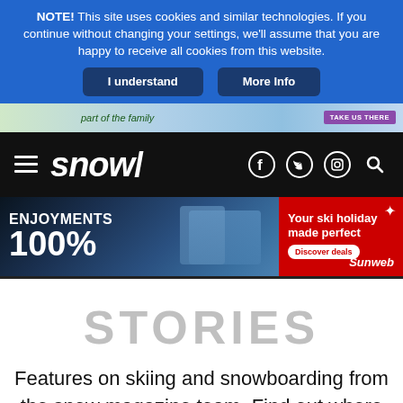NOTE! This site uses cookies and similar technologies. If you continue without changing your settings, we'll assume that you are happy to receive all cookies from this website.
I understand | More Info
[Figure (screenshot): Ski banner strip with text 'part of the family' and 'TAKE US THERE' button]
[Figure (logo): Snow magazine navigation bar with hamburger menu, snow/ logo, and social media icons (Facebook, Twitter, Instagram, Search)]
[Figure (infographic): Sunweb ski holiday advertisement banner: 'ENJOYMENTS 100%' on left with skiers photo, right side red panel with 'Your ski holiday made perfect', 'Discover deals' button, and Sunweb logo]
STORIES
Features on skiing and snowboarding from the snow magazine team. Find out where is best to go, what resorts are really like and how to make